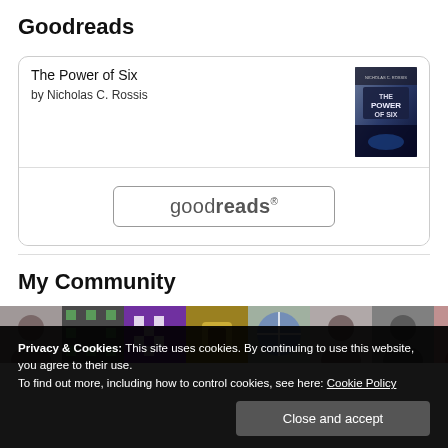Goodreads
[Figure (screenshot): Goodreads widget showing book 'The Power of Six' by Nicholas C. Rossis with book cover image and goodreads button]
My Community
[Figure (photo): Grid of community member profile thumbnails/avatars]
Privacy & Cookies: This site uses cookies. By continuing to use this website, you agree to their use. To find out more, including how to control cookies, see here: Cookie Policy
Close and accept